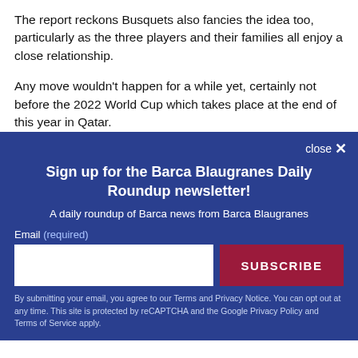The report reckons Busquets also fancies the idea too, particularly as the three players and their families all enjoy a close relationship.
Any move wouldn't happen for a while yet, certainly not before the 2022 World Cup which takes place at the end of this year in Qatar.
[Figure (other): Newsletter sign-up modal with dark blue background. Title: 'Sign up for the Barca Blaugranes Daily Roundup newsletter!'. Subtitle: 'A daily roundup of Barca news from Barca Blaugranes'. Email input field and SUBSCRIBE button. Disclaimer text about Terms and Privacy Notice.]